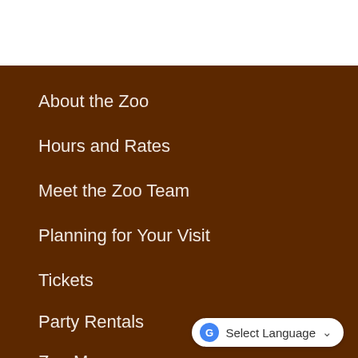About the Zoo
Hours and Rates
Meet the Zoo Team
Planning for Your Visit
Tickets
Party Rentals
Zoo Map
Zoosletter Sign Up